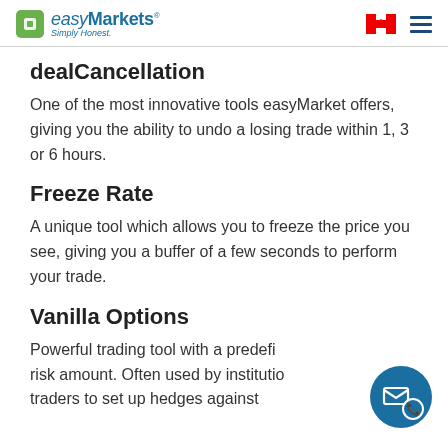easyMarkets Simply Honest.
dealCancellation
One of the most innovative tools easyMarket offers, giving you the ability to undo a losing trade within 1, 3 or 6 hours.
Freeze Rate
A unique tool which allows you to freeze the price you see, giving you a buffer of a few seconds to perform your trade.
Vanilla Options
Powerful trading tool with a predefi risk amount. Often used by institutio traders to set up hedges against volatility